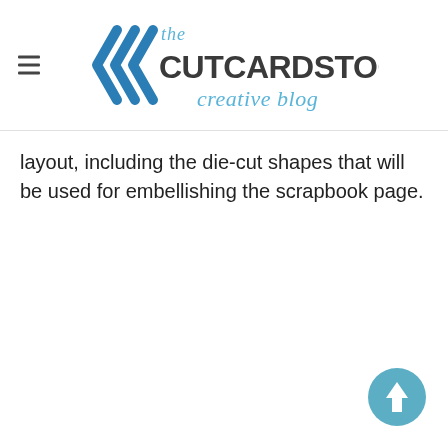[Figure (logo): The CutCardStock Creative Blog logo with double chevron arrows and stylized text]
layout, including the die-cut shapes that will be used for embellishing the scrapbook page.
[Figure (other): Scroll-to-top button, circular teal with upward arrow]